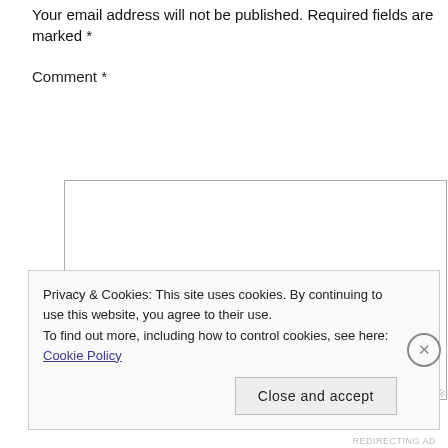Your email address will not be published. Required fields are marked *
Comment *
[Figure (screenshot): Comment text area input box, empty, with resize handle at bottom right]
Privacy & Cookies: This site uses cookies. By continuing to use this website, you agree to their use.
To find out more, including how to control cookies, see here: Cookie Policy
Close and accept